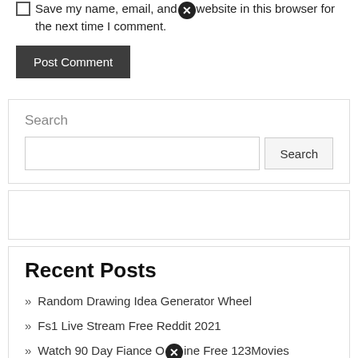☐ Save my name, email, and website in this browser for the next time I comment.
Post Comment
Search
Recent Posts
Random Drawing Idea Generator Wheel
Fs1 Live Stream Free Reddit 2021
Watch 90 Day Fiance Online Free 123Movies